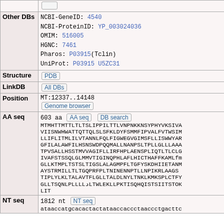| Field | Value |
| --- | --- |
| Other DBs | NCBI-GeneID: 4540
NCBI-ProteinID: YP_003024036
OMIM: 516005
HGNC: 7461
Pharos: P03915(Tclin)
UniProt: P03915 U5ZC31 |
| Structure | [PDB] |
| LinkDB | [All DBs] |
| Position | MT:12337..14148
[Genome browser] |
| AA seq | 603 aa [AA seq] [DB search]
MTMHTTMTTLTLTSLIPPILTTLVNPNKKNSYPHYVKSIVA
VIISNWHWATTQTTQLSLSFKLDYFSMMFIPVALFVTWSIM
LLIFLITMLILVTANNLFQLFIGWEGVGIMSFLLISWWYAR
GFILALAWFILHSNSWDPQQMALLNANPSLTPLLGLLLAAA
TPVSALLHSSTMVVAGIFLLIRFHPLAENSPLIQTLTLCLG
IVAFSTSSQLGLMMVTIGINQPHLAFLHICTHAFFKAMLFM
GLLKTMPLTSTSLTIGSLALAGMPFLTGFYSKDHIIETANM
AYSTRMILLTLTGQPRFPTLTNINENNPTLLNPIKRLAAGS
TIPLYLKLTALAVTFLGLLTALDLNYLTNKLKMKSPLCTFY
GLLTSQNLPLLLLDLTWLEKLLPKTISQHQISTSIITSTQK
LIT |
| NT seq | 1812 nt [NT seq]
ataaccatgcacactactataaccaccctaaccctgacttc |